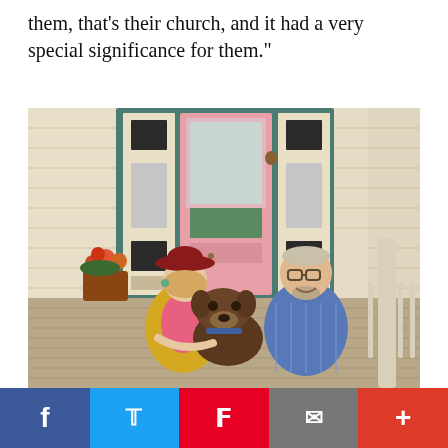them, that’s their church, and it had a very special significance for them.”
[Figure (photo): A couple and their dog posing on a porch in front of a pink door with stained glass sidelights. The woman wears a red hat and yellow cardigan over a pink shirt. The man wears a blue plaid shirt. A brown dog sits between them. Red flowers are visible in the background.]
f   🐦   ℗   ✉   +